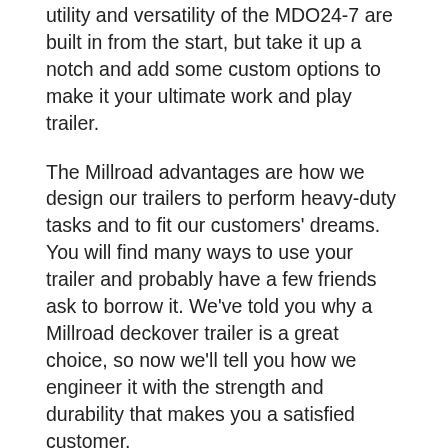utility and versatility of the MDO24-7 are built in from the start, but take it up a notch and add some custom options to make it your ultimate work and play trailer.
The Millroad advantages are how we design our trailers to perform heavy-duty tasks and to fit our customers' dreams. You will find many ways to use your trailer and probably have a few friends ask to borrow it. We've told you why a Millroad deckover trailer is a great choice, so now we'll tell you how we engineer it with the strength and durability that makes you a satisfied customer.
Key Trailer Features
Our customers want the flexibility and affordability to get the type of trailer they want. The MDO24-7